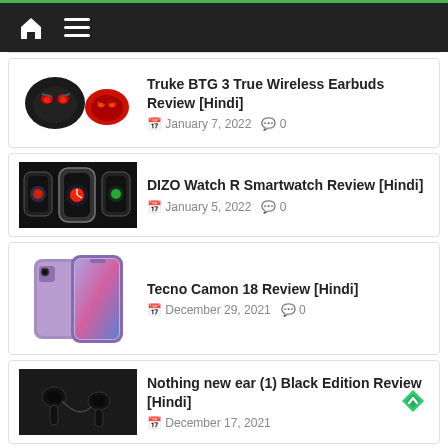Home Menu
[Figure (photo): Truke BTG 3 earbuds product image - two black earbuds with red angry face design]
Truke BTG 3 True Wireless Earbuds Review [Hindi]
January 7, 2022   0
[Figure (photo): DIZO Watch R smartwatch product image - multiple smartwatches on black background]
DIZO Watch R Smartwatch Review [Hindi]
January 5, 2022   0
[Figure (photo): Tecno Camon 18 smartphone product image - purple gradient phone]
Tecno Camon 18 Review [Hindi]
December 29, 2021   0
[Figure (photo): Nothing ear (1) Black Edition earbuds product image on dark background]
Nothing new ear (1) Black Edition Review [Hindi]
December 17, 2021   0